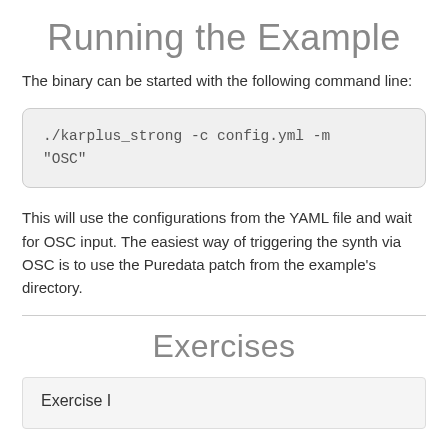Running the Example
The binary can be started with the following command line:
./karplus_strong -c config.yml -m
"OSC"
This will use the configurations from the YAML file and wait for OSC input. The easiest way of triggering the synth via OSC is to use the Puredata patch from the example's directory.
Exercises
Exercise I